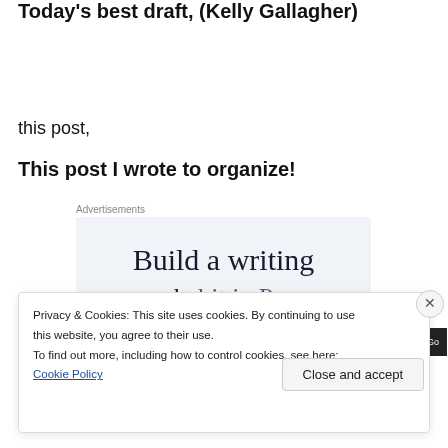Today's best draft, (Kelly Gallagher)
this post,
This post I wrote to organize!
[Figure (other): Advertisement box with text 'Build a writing' and partial second line visible, with a dark app bar at the bottom showing 'All in One Free App' and 'DuckDuckGo']
Privacy & Cookies: This site uses cookies. By continuing to use this website, you agree to their use.
To find out more, including how to control cookies, see here: Cookie Policy
Close and accept